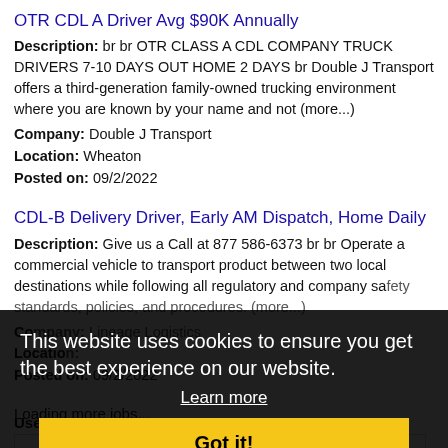OTR CDL A Driver Avg $90K Annually
Description: br br OTR CLASS A CDL COMPANY TRUCK DRIVERS 7-10 DAYS OUT HOME 2 DAYS br Double J Transport offers a third-generation family-owned trucking environment where you are known by your name and not (more...)
Company: Double J Transport
Location: Wheaton
Posted on: 09/2/2022
CDL-B Delivery Driver, Early AM Dispatch, Home Daily
Description: Give us a Call at 877 586-6373 br br Operate a commercial vehicle to transport product between two local destinations while following all regulatory and company safety standards, policies, and procedures. (more...)
Company: Lineage Logistics
Location: [partially hidden]
Posted on: 09/2/2022
Loading more jobs...
This website uses cookies to ensure you get the best experience on our website.
Learn more
Got it!
Log In or Create An Account
Username: